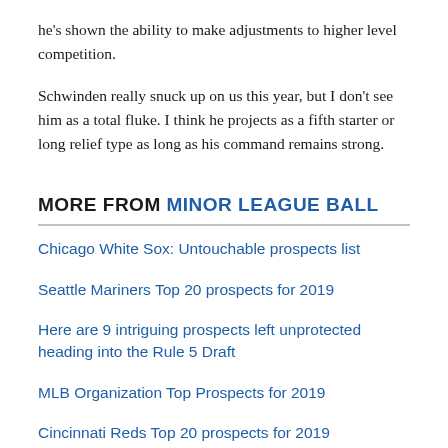he's shown the ability to make adjustments to higher level competition.
Schwinden really snuck up on us this year, but I don't see him as a total fluke. I think he projects as a fifth starter or long relief type as long as his command remains strong.
MORE FROM MINOR LEAGUE BALL
Chicago White Sox: Untouchable prospects list
Seattle Mariners Top 20 prospects for 2019
Here are 9 intriguing prospects left unprotected heading into the Rule 5 Draft
MLB Organization Top Prospects for 2019
Cincinnati Reds Top 20 prospects for 2019